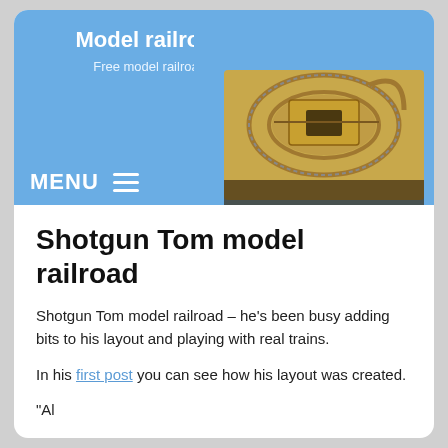Model railroad layouts plans
Free model railroad layout plans pics and tips
[Figure (photo): Photo of a model railroad layout on a wooden table, viewed from above at an angle, showing track planning on a baseboard.]
Shotgun Tom model railroad
Shotgun Tom model railroad – he's been busy adding bits to his layout and playing with real trains.
In his first post you can see how his layout was created.
“Al
The California state Railroad Museum in Sacramento pulled my Fathers 347C Santa Fe F 7 Red Warbonnet engine out of the Museum and put it in a consist.